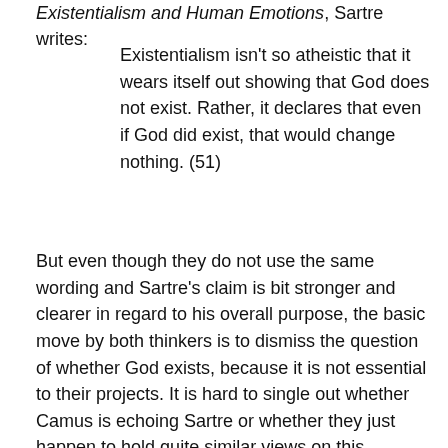Existentialism and Human Emotions, Sartre writes:
Existentialism isn't so atheistic that it wears itself out showing that God does not exist. Rather, it declares that even if God did exist, that would change nothing. (51)
But even though they do not use the same wording and Sartre's claim is bit stronger and clearer in regard to his overall purpose, the basic move by both thinkers is to dismiss the question of whether God exists, because it is not essential to their projects. It is hard to single out whether Camus is echoing Sartre or whether they just happen to hold quite similar views on this subject, but whatever the case may be, their shared dismissal of theological hairsplitting and their shared lack of interest in proselytizing for atheism (despite both being atheists)